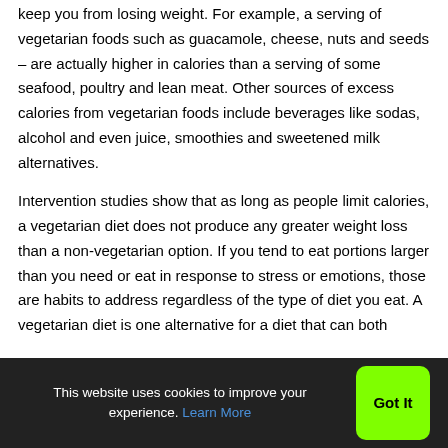keep you from losing weight. For example, a serving of vegetarian foods such as guacamole, cheese, nuts and seeds – are actually higher in calories than a serving of some seafood, poultry and lean meat. Other sources of excess calories from vegetarian foods include beverages like sodas, alcohol and even juice, smoothies and sweetened milk alternatives.
Intervention studies show that as long as people limit calories, a vegetarian diet does not produce any greater weight loss than a non-vegetarian option. If you tend to eat portions larger than you need or eat in response to stress or emotions, those are habits to address regardless of the type of diet you eat. A vegetarian diet is one alternative for a diet that can both
This website uses cookies to improve your experience. Learn More